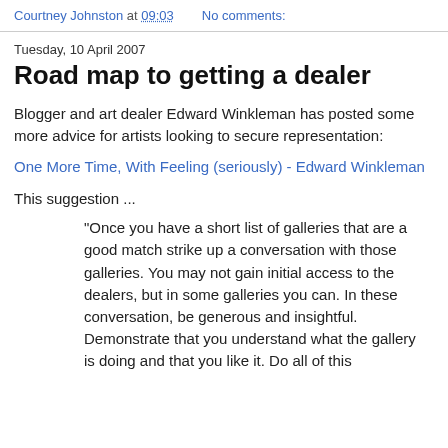Courtney Johnston at 09:03   No comments:
Tuesday, 10 April 2007
Road map to getting a dealer
Blogger and art dealer Edward Winkleman has posted some more advice for artists looking to secure representation:
One More Time, With Feeling (seriously) - Edward Winkleman
This suggestion ...
"Once you have a short list of galleries that are a good match strike up a conversation with those galleries. You may not gain initial access to the dealers, but in some galleries you can. In these conversation, be generous and insightful. Demonstrate that you understand what the gallery is doing and that you like it. Do all of this